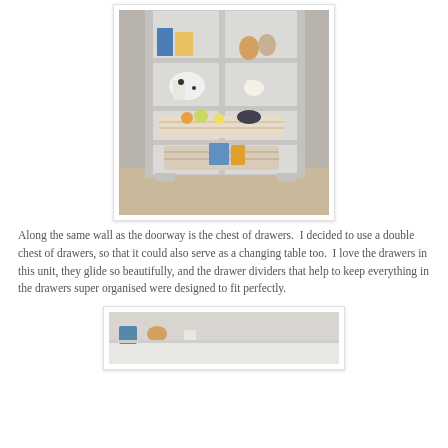[Figure (photo): A white painted bookcase/shelving unit against a grey wall, with stuffed animal toys and books on the upper shelves, and wicker baskets holding soft toys and books on the lower shelves. The unit sits on a carpeted floor.]
Along the same wall as the doorway is the chest of drawers.  I decided to use a double chest of drawers, so that it could also serve as a changing table too.  I love the drawers in this unit, they glide so beautifully, and the drawer dividers that help to keep everything in the drawers super organised were designed to fit perfectly.
[Figure (photo): Partial view of a white changing table or dresser top with items on it, partially cropped at the bottom of the page.]